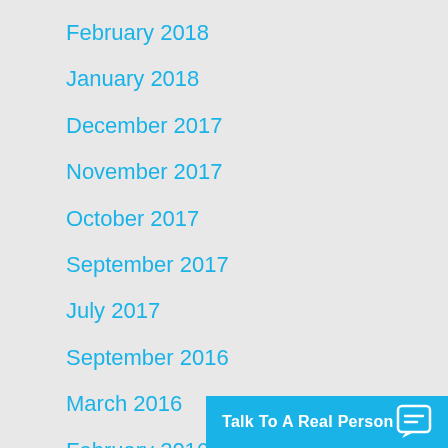February 2018
January 2018
December 2017
November 2017
October 2017
September 2017
July 2017
September 2016
March 2016
February 2016
January 2016
December 2015
September 2015
Talk To A Real Person